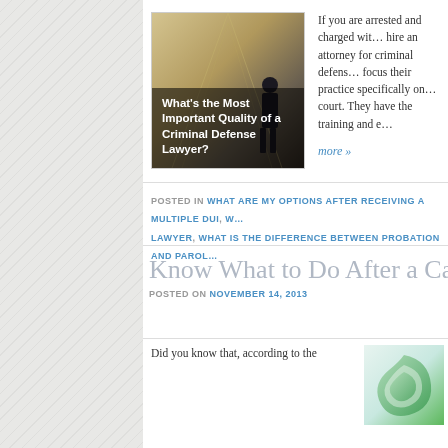[Figure (photo): Photo of a person in a hallway with overlay text 'What's the Most Important Quality of a Criminal Defense Lawyer?']
If you are arrested and charged with... hire an attorney for criminal defense... focus their practice specifically on... court. They have the training and e...
more »
POSTED IN WHAT ARE MY OPTIONS AFTER RECEIVING A MULTIPLE DUI, W... LAWYER, WHAT IS THE DIFFERENCE BETWEEN PROBATION AND PAROL...
Know What to Do After a Car Crash
POSTED ON NOVEMBER 14, 2013
Did you know that, according to the
[Figure (logo): Green logo/swirl graphic for law firm]